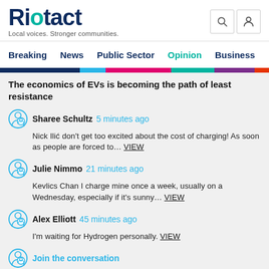Riotact - Local voices. Stronger communities.
Breaking  News  Public Sector  Opinion  Business  R
The economics of EVs is becoming the path of least resistance
Sharee Schultz  5 minutes ago
Nick Ilić don't get too excited about the cost of charging! As soon as people are forced to... VIEW
Julie Nimmo  21 minutes ago
Kevlics Chan I charge mine once a week, usually on a Wednesday, especially if it's sunny... VIEW
Alex Elliott  45 minutes ago
I'm waiting for Hydrogen personally. VIEW
Join the conversation